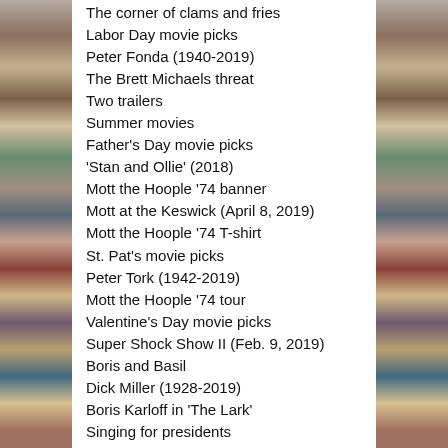The corner of clams and fries
Labor Day movie picks
Peter Fonda (1940-2019)
The Brett Michaels threat
Two trailers
Summer movies
Father's Day movie picks
'Stan and Ollie' (2018)
Mott the Hoople '74 banner
Mott at the Keswick (April 8, 2019)
Mott the Hoople '74 T-shirt
St. Pat's movie picks
Peter Tork (1942-2019)
Mott the Hoople '74 tour
Valentine's Day movie picks
Super Shock Show II (Feb. 9, 2019)
Boris and Basil
Dick Miller (1928-2019)
Boris Karloff in 'The Lark'
Singing for presidents
'Robin Hood' poster